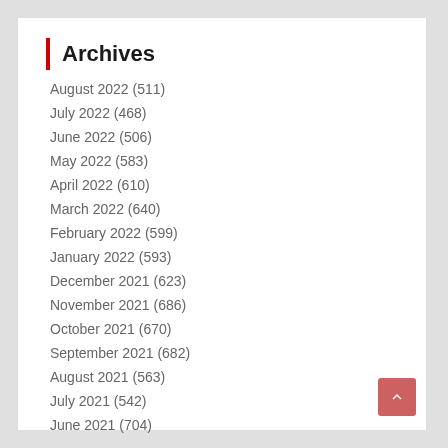Archives
August 2022 (511)
July 2022 (468)
June 2022 (506)
May 2022 (583)
April 2022 (610)
March 2022 (640)
February 2022 (599)
January 2022 (593)
December 2021 (623)
November 2021 (686)
October 2021 (670)
September 2021 (682)
August 2021 (563)
July 2021 (542)
June 2021 (704)